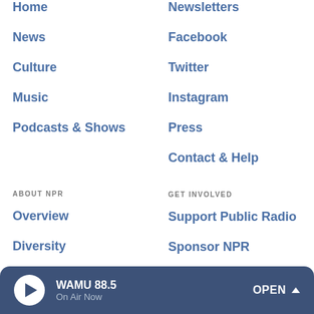Home
Newsletters
News
Facebook
Culture
Twitter
Music
Instagram
Podcasts & Shows
Press
Contact & Help
ABOUT NPR
GET INVOLVED
Overview
Support Public Radio
Diversity
Sponsor NPR
Ethics
NPR Careers
Finances
NPR Shop
WAMU 88.5 On Air Now OPEN